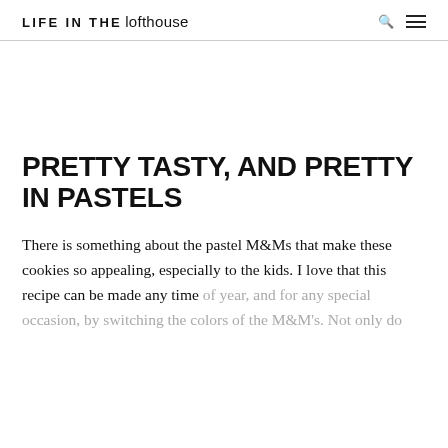LIFE IN THE lofthouse
PRETTY TASTY, AND PRETTY IN PASTELS
There is something about the pastel M&Ms that make these cookies so appealing, especially to the kids. I love that this recipe can be made any time of year, and for any special occasion, by switching the colors of the M&M's. Not only do